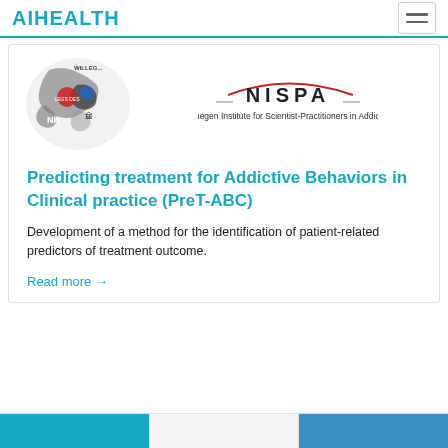AIHEALTH
[Figure (illustration): Map of the Netherlands with logos/icons overlaid (NK label visible), alongside the NISPA logo — Nijmegen Institute for Scientist-Practitioners in Addiction — with a red arc above the text.]
Predicting treatment for Addictive Behaviors in Clinical practice (PreT-ABC)
Development of a method for the identification of patient-related predictors of treatment outcome.
Read more →
[Figure (illustration): Partial bottom strip showing three colored segments (cyan, white with partial image, blue with partial image)]